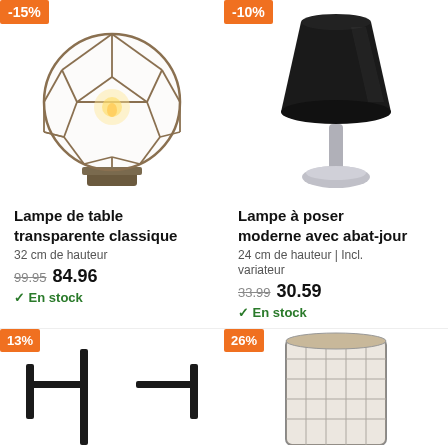[Figure (photo): Geometric globe-shaped transparent table lamp with gold/brass metal frame and visible Edison bulb, on a wooden base. -15% orange badge top-left.]
Lampe de table transparente classique
32 cm de hauteur
99.95  84.96
✓ En stock
[Figure (photo): Modern black fabric cone shade table lamp with brushed nickel/silver stem and round base. -10% orange badge top-left.]
Lampe à poser moderne avec abat-jour
24 cm de hauteur | Incl. variateur
33.99  30.59
✓ En stock
[Figure (photo): Black wall or multi-arm lamp, partially visible. -13% orange badge.]
[Figure (photo): Woven/rope cylinder pendant lamp shade, partially visible. -26% orange badge.]